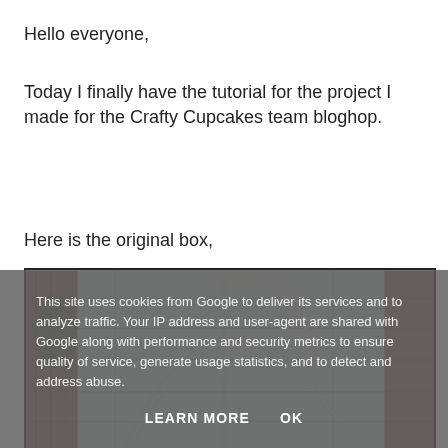Hello everyone,
Today I finally have the tutorial for the project I made for the Crafty Cupcakes team bloghop.
Here is the original box,
[Figure (photo): A wooden box with a curved wire or ribbon handle against a weathered wood plank background with rustic red-painted edges.]
This site uses cookies from Google to deliver its services and to analyze traffic. Your IP address and user-agent are shared with Google along with performance and security metrics to ensure quality of service, generate usage statistics, and to detect and address abuse.
LEARN MORE   OK